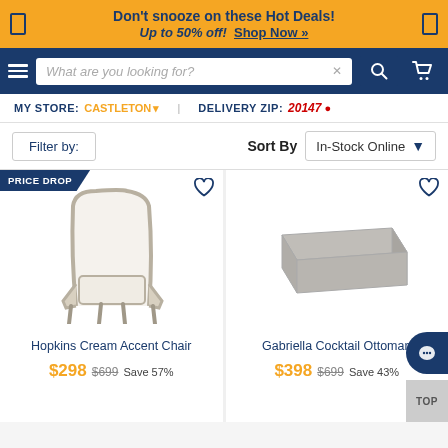Don't snooze on these Hot Deals! Up to 50% off! Shop Now »
[Figure (screenshot): Navigation bar with hamburger menu, search box reading 'What are you looking for?', search button, and cart icon on dark blue background]
MY STORE: CASTLETON ▾   DELIVERY ZIP: 20147 ●
Filter by:   Sort By  In-Stock Online ▼
[Figure (photo): Hopkins Cream Accent Chair - a light gray/cream upholstered armchair with wooden frame, shown with PRICE DROP badge]
[Figure (photo): Gabriella Cocktail Ottoman - a rectangular gray fabric ottoman]
Hopkins Cream Accent Chair
$298  $699  Save 57%
Gabriella Cocktail Ottoman
$398  $699  Save 43%